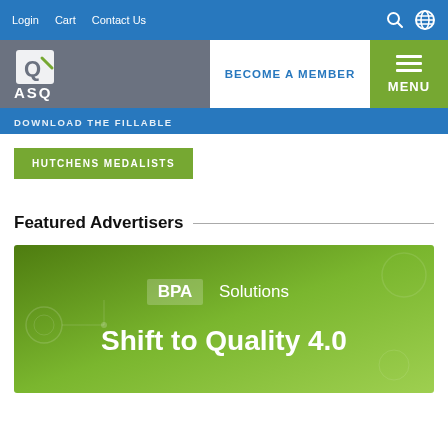Login  Cart  Contact Us
[Figure (logo): ASQ logo — circular Q mark above ASQ text on grey background]
BECOME A MEMBER
MENU
DOWNLOAD THE FILLABLE
HUTCHENS MEDALISTS
Featured Advertisers
[Figure (illustration): BPA Solutions advertisement banner with green gradient background. Text reads 'BPA Solutions' and 'Shift to Quality 4.0']